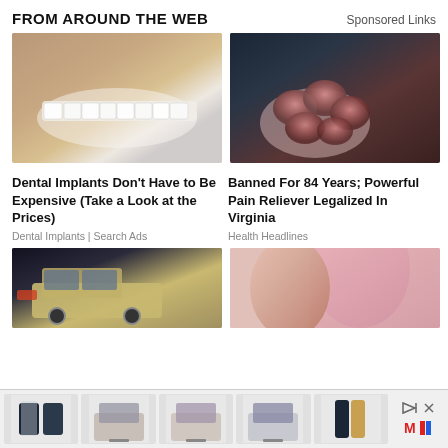FROM AROUND THE WEB
Sponsored Links
[Figure (photo): Close-up of a man smiling showing white dental veneers with stubble beard]
Dental Implants Don't Have to Be Expensive (Take a Look at the Prices)
Dental Implants | Search Ads
[Figure (photo): Hand holding several dark red sparkly gummy bear candies against dark background]
Banned For 84 Years; Powerful Pain Reliever Legalized In Virginia
Health Headlines
[Figure (photo): Cars at an auto show, beige/tan pickup truck in focus]
[Figure (photo): Woman in pink top, partial view of shoulders and neck]
[Figure (screenshot): Advertisement banner showing laptops and smartphones with close button and logo]